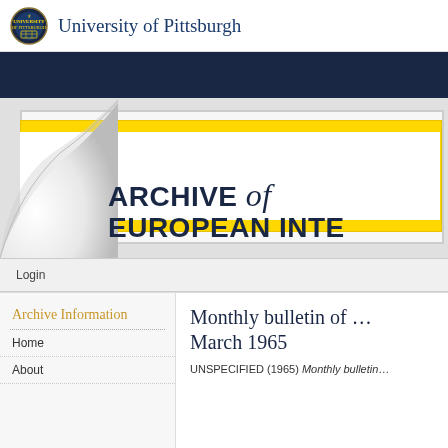University of Pittsburgh
[Figure (logo): University of Pittsburgh circular seal/crest logo in blue and gold]
[Figure (illustration): Dark navy blue decorative banner strip]
[Figure (illustration): Page curl graphic over yellow and gray layered strips, with 'ARCHIVE of EUROPEAN INTE' large bold text header for Archive of European Integration]
ARCHIVE of EUROPEAN INTE
Login
Archive Information
Home
About
Monthly bulletin of … March 1965
UNSPECIFIED (1965) Monthly bulletin…